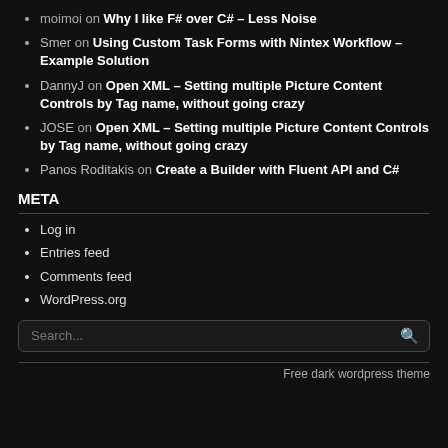moimoi on Why I like F# over C# – Less Noise
Smer on Using Custom Task Forms with Nintex Workflow – Example Solution
DannyJ on Open XML – Setting multiple Picture Content Controls by Tag name, without going crazy
JOSE on Open XML – Setting multiple Picture Content Controls by Tag name, without going crazy
Panos Roditakis on Create a Builder with Fluent API and C#
META
Log in
Entries feed
Comments feed
WordPress.org
Free dark wordpress theme